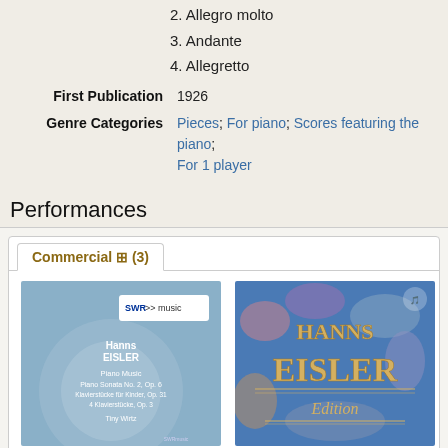2. Allegro molto
3. Andante
4. Allegretto
| First Publication | 1926 |
| Genre Categories | Pieces; For piano; Scores featuring the piano; For 1 player |
Performances
Commercial ⊞ (3)
[Figure (photo): Album cover: SWR music - Hanns Eisler Piano Music, Piano Sonata No. 2 Op. 6, Klavierstücke für Kinder Op. 31, 4 Klavierstücke Op. 3, Tiny Wirtz]
[Figure (photo): Album cover: Hanns Eisler Edition]